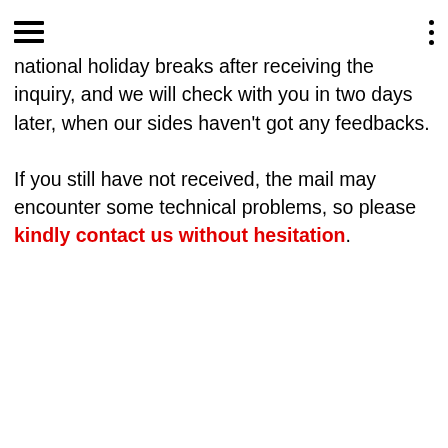[hamburger menu icon] [vertical dots menu icon]
national holiday breaks after receiving the inquiry, and we will check with you in two days later, when our sides haven't got any feedbacks.
If you still have not received, the mail may encounter some technical problems, so please kindly contact us without hesitation.